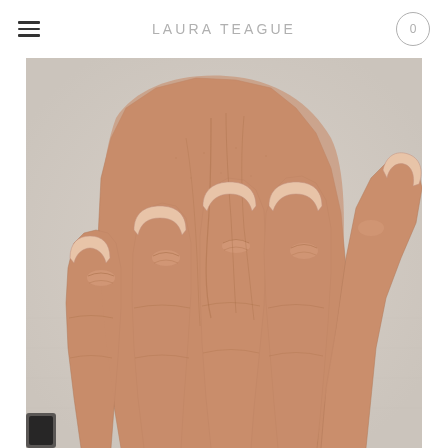LAURA TEAGUE
[Figure (photo): Close-up photograph of the back of an aging human hand with visible skin texture, wrinkles, and veins, resting on a light grey fabric surface. The fingers are spread apart showing knuckles and short nails.]